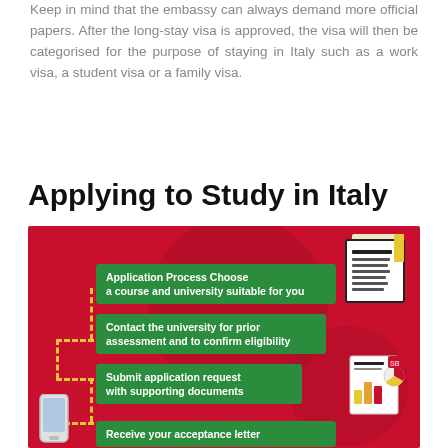Keep in mind that the embassy can always demand more official papers. After the long-stay visa is approved, the visa will then be categorised for the purpose of staying in Italy such as a work visa, a student visa or a family visa.
Applying to Study in Italy
[Figure (infographic): Infographic on red background showing application process steps for studying in Italy: 1) Application Process Choose a course and university suitable for you, 2) Contact the university for prior assessment and to confirm eligibility, 3) Submit application request with supporting documents, 4) Receive your acceptance letter. Steps connected by yellow dashed lines. Document and report icons on the right.]